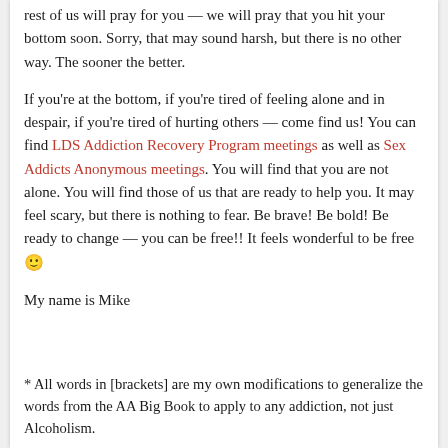rest of us will pray for you — we will pray that you hit your bottom soon.  Sorry, that may sound harsh, but there is no other way.  The sooner the better.
If you're at the bottom, if you're tired of feeling alone and in despair, if you're tired of hurting others — come find us!  You can find LDS Addiction Recovery Program meetings as well as Sex Addicts Anonymous meetings.  You will find that you are not alone.  You will find those of us that are ready to help you.  It may feel scary, but there is nothing to fear.  Be brave!  Be bold!  Be ready to change — you can be free!!  It feels wonderful to be free 🙂
My name is Mike
* All words in [brackets] are my own modifications to generalize the words from the AA Big Book to apply to any addiction, not just Alcoholism.
If you need extra encouragement, you may find these videos